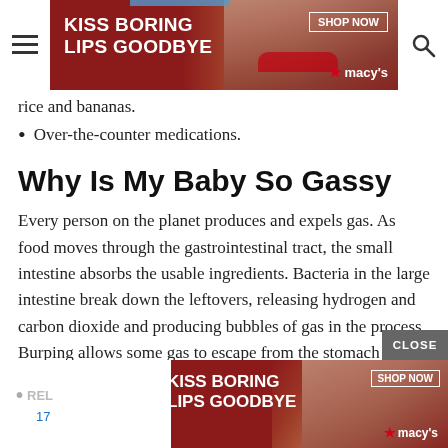[Figure (other): Macy's advertisement banner at top: 'KISS BORING LIPS GOODBYE' with SHOP NOW button and Macy's star logo, featuring a woman with red lips]
rice and bananas.
Over-the-counter medications.
Why Is My Baby So Gassy
Every person on the planet produces and expels gas. As food moves through the gastrointestinal tract, the small intestine absorbs the usable ingredients. Bacteria in the large intestine break down the leftovers, releasing hydrogen and carbon dioxide and producing bubbles of gas in the process. Burping allows some gas to escape from the stomach early on, and the rest travels from the colon to the rectum, where it's ejected primarily via bowel movements or farts.
[Figure (other): Macy's advertisement banner at bottom: 'KISS BORING LIPS GOODBYE' with SHOP NOW button and Macy's star logo, with CLOSE button overlay]